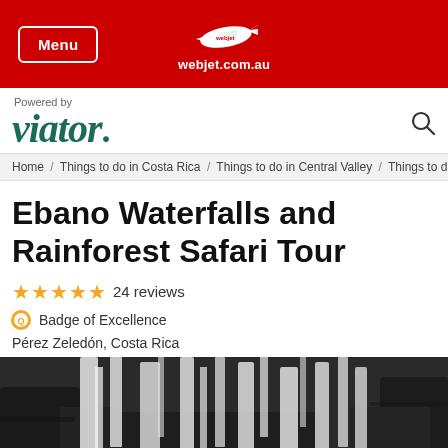Menu | webjet.com.au
[Figure (logo): Viator logo with 'Powered by' text above]
Home / Things to do in Costa Rica / Things to do in Central Valley / Things to d
Ebano Waterfalls and Rainforest Safari Tour
★★★★★ 24 reviews
Badge of Excellence
Pérez Zeledón, Costa Rica
[Figure (photo): Waterfall flowing over dark rocks in a rainforest setting, black and white tones with white rushing water]